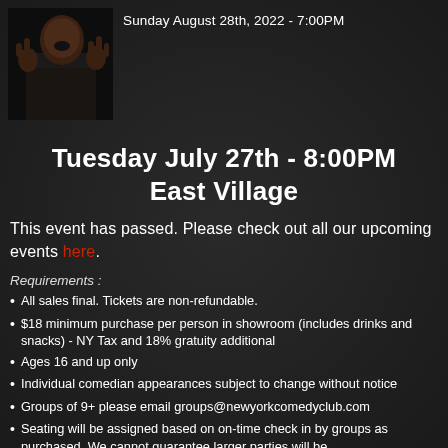[Figure (photo): Person making hand gestures, dark background]
Sunday August 28th, 2022 - 7:00PM
Tuesday July 27th - 8:00PM
East Village
This event has passed. Please check out all our upcoming events here.
Requirements :
All sales final. Tickets are non-refundable.
$18 minimum purchase per person in showroom (includes drinks and snacks) - NY Tax and 18% gratuity additional
Ages 16 and up only
Individual comedian appearances subject to change without notice
Groups of 9+ please email groups@newyorkcomedyclub.com
Seating will be assigned based on on-time check in by groups as purchased. We cannot guarantee larger parties will be